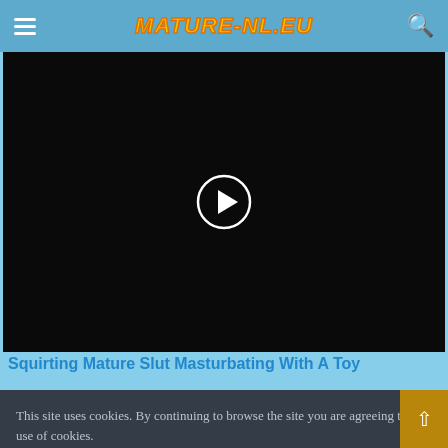MATURE-NL.EU
[Figure (screenshot): Black video player with a circular play button in the center]
Squirting Mature Slut Masturbating With A Toy
This site uses cookies. By continuing to browse the site you are agreeing to our use of cookies.